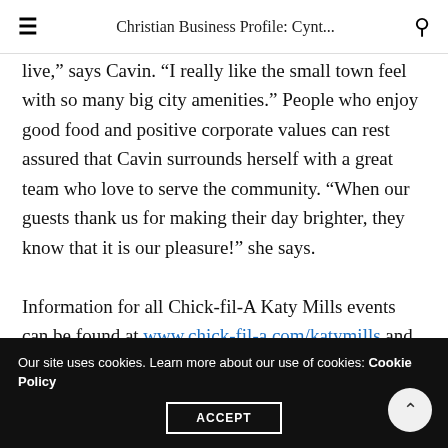Christian Business Profile: Cynt...
live,” says Cavin. “I really like the small town feel with so many big city amenities.” People who enjoy good food and positive corporate values can rest assured that Cavin surrounds herself with a great team who love to serve the community. “When our guests thank us for making their day brighter, they know that it is our pleasure!” she says.

Information for all Chick-fil-A Katy Mills events can be found at www.chick-fil-a.com/katymills and at
Our site uses cookies. Learn more about our use of cookies: Cookie Policy